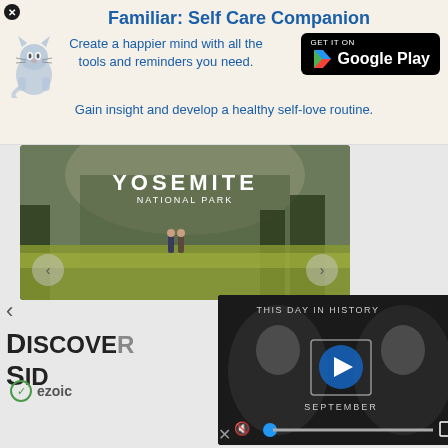Familiar: Self Care Companion
Create a happier mind with all the tools and reminders you need.
Gain insight and develop a healthy self-love routine.
[Figure (photo): Yosemite National Park photo showing two people hiking through tall grass with mountains in background, white text overlay reading YOSEMITE NATIONAL PARK]
[Figure (screenshot): Video player overlay showing THIS DAY IN HISTORY with a play button and SEPTEMBER text, muted with blue progress dot, expand icon, dark background with people]
DISCOVER SID
[Figure (logo): Ezoic logo with green circle checkmark icon and ezoic text]